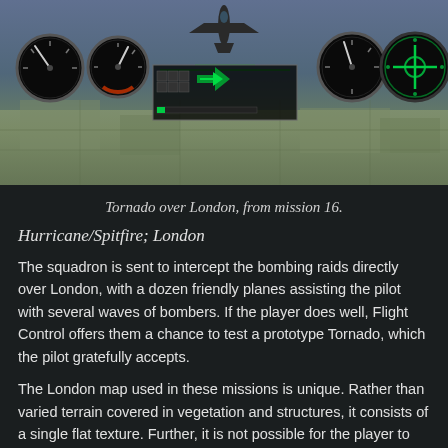[Figure (screenshot): Screenshot of a flight simulation game showing a cockpit HUD view of a Tornado aircraft flying over London. Several circular gauges/instruments are visible on the left and right sides of the screen. A targeting/navigation panel is visible in the center. The terrain below shows a flat map-like texture.]
Tornado over London, from mission 16.
Hurricane/Spitfire; London
The squadron is sent to intercept the bombing raids directly over London, with a dozen friendly planes assisting the pilot with several waves of bombers. If the player does well, Flight Control offers them a chance to test a prototype Tornado, which the pilot gratefully accepts.
The London map used in these missions is unique. Rather than varied terrain covered in vegetation and structures, it consists of a single flat texture. Further, it is not possible for the player to move around the map; while movement works relative to other aircraft, the player's aircraft always